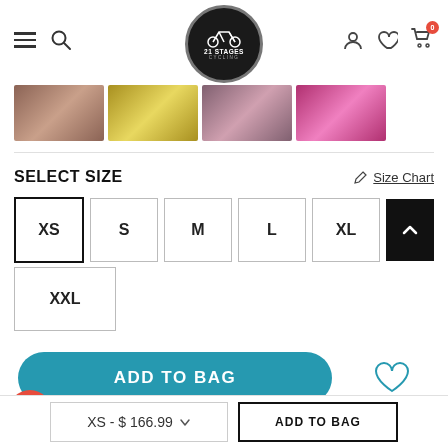21 Stages Cycling – navigation header with hamburger menu, search, logo, account, wishlist, cart (0)
[Figure (photo): Thumbnail strip showing four cropped product images of cycling jerseys]
SELECT SIZE
Size Chart
XS (selected)
S
M
L
XL
XXL
ADD TO BAG
XS - $ 166.99  ADD TO BAG